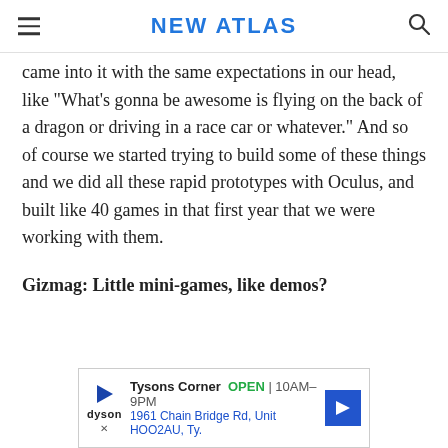NEW ATLAS
came into it with the same expectations in our head, like "What's gonna be awesome is flying on the back of a dragon or driving in a race car or whatever." And so of course we started trying to build some of these things and we did all these rapid prototypes with Oculus, and built like 40 games in that first year that we were working with them.
Gizmag: Little mini-games, like demos?
[Figure (other): Advertisement banner for Dyson at Tysons Corner showing store hours OPEN 10AM-9PM and address 1961 Chain Bridge Rd, Unit HOO2AU, Ty.]